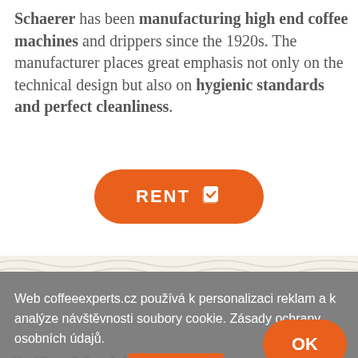Schaerer has been manufacturing high end coffee machines and drippers since the 1920s. The manufacturer places great emphasis not only on the technical design but also on hygienic standards and perfect cleanliness.
[Figure (other): Orange rounded button with white text 'RENT' and a checkbox icon]
[Figure (other): Wavy decorative line pattern in beige/cream color]
Web coffeeexperts.cz používá k personalizaci reklam a k analýze návštěvnosti soubory cookie. Zásady ochrany osobních údajů.
[Figure (other): Orange rounded OK button]
Coffee Machine Proper...